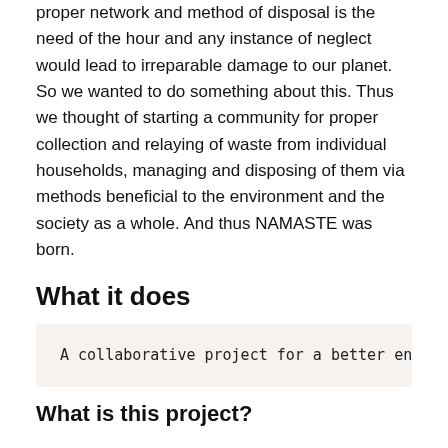proper network and method of disposal is the need of the hour and any instance of neglect would lead to irreparable damage to our planet. So we wanted to do something about this. Thus we thought of starting a community for proper collection and relaying of waste from individual households, managing and disposing of them via methods beneficial to the environment and the society as a whole. And thus NAMASTE was born.
What it does
A collaborative project for a better en
What is this project?
The project consists of several sections for managing waste efficiently.
Disposing waste